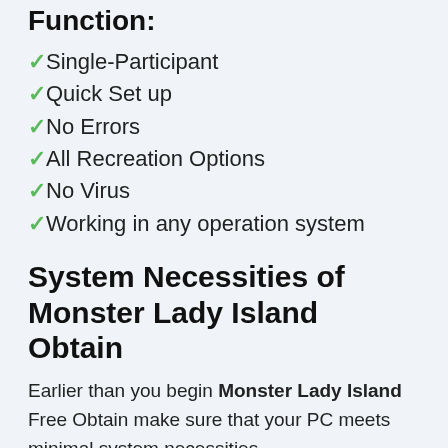Function:
✓Single-Participant
✓Quick Set up
✓No Errors
✓All Recreation Options
✓No Virus
✓Working in any operation system
System Necessities of Monster Lady Island Obtain
Earlier than you begin Monster Lady Island Free Obtain make sure that your PC meets minimal system necessities.